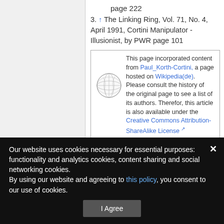page 222
3. ↑ The Linking Ring, Vol. 71, No. 4, April 1991, Cortini Manipulator - Illusionist, by PWR page 101
This page incorporated content from Paul_Korth-Cortini, a page hosted on Wikipedia(de). Please consult the history of the original page to see a list of its authors. Therefor, this article is also available under the Creative Commons Attribution-ShareAlike License
The Linking Ring, Vol. 34, No. 10, December 1954, Broken Wand, Adolph Korth (Cortini), page 129
Our website uses cookies necessary for essential purposes: functionality and analytics cookies, content sharing and social networking cookies.
By using our website and agreeing to this policy, you consent to our use of cookies.